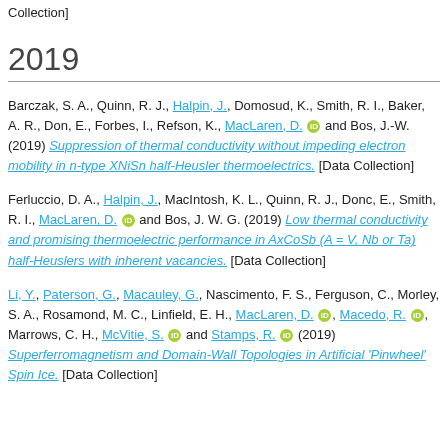Collection]
2019
Barczak, S. A., Quinn, R. J., Halpin, J., Domosud, K., Smith, R. I., Baker, A. R., Don, E., Forbes, I., Refson, K., MacLaren, D. [orcid] and Bos, J.-W. (2019) Suppression of thermal conductivity without impeding electron mobility in n-type XNiSn half-Heusler thermoelectrics. [Data Collection]
Ferluccio, D. A., Halpin, J., MacIntosh, K. L., Quinn, R. J., Donc, E., Smith, R. I., MacLaren, D. [orcid] and Bos, J. W. G. (2019) Low thermal conductivity and promising thermoelectric performance in AxCoSb (A = V, Nb or Ta) half-Heuslers with inherent vacancies. [Data Collection]
Li, Y., Paterson, G., Macauley, G., Nascimento, F. S., Ferguson, C., Morley, S. A., Rosamond, M. C., Linfield, E. H., MacLaren, D. [orcid], Macedo, R. [orcid], Marrows, C. H., McVitie, S. [orcid] and Stamps, R. [orcid] (2019) Superferromagnetism and Domain-Wall Topologies in Artificial 'Pinwheel' Spin Ice. [Data Collection]